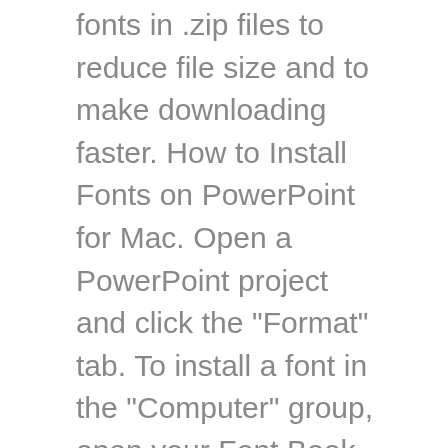fonts in .zip files to reduce file size and to make downloading faster. How to Install Fonts on PowerPoint for Mac. Open a PowerPoint project and click the "Format" tab. To install a font in the "Computer" group, open your Font Book (the default OSX app that manages fonts) and drag the files into the "Computer" section in the left hand sidebar. The font displays in a window, providing a preview of what it will look like in PowerPoint. PowerPoint allows you to embed non-standard fonts as long as they are TTF or OTF files. Click the Get more fonts in Microsoft Store option. For better or worse, there is an overwhelming choice of fonts out there on the internet. Double-click the startup drive icon on your desktop to access the Library folder or select the hard drive in the Locations section of Finder. Different fonts portray different personalities which are appropriate in various situations. Another way to